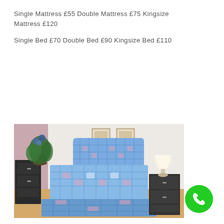Single Mattress £55 Double Mattress £75 Kingsize Mattress £120

Single Bed £70 Double Bed £90 Kingsize Bed £110
[Figure (photo): Photo of a single divan bed with blue and white checked fabric pattern on both the mattress and headboard, set in a bedroom with a black bedside cabinet, a lamp, a plant, and two framed pictures on the wall.]